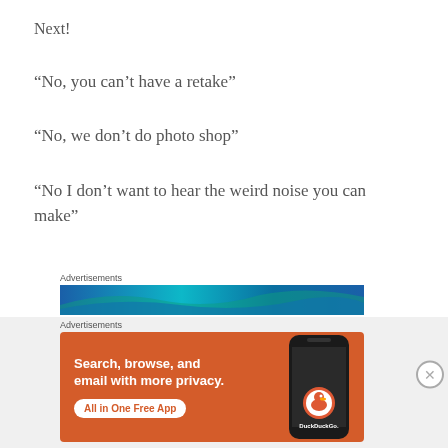Next!
“No, you can’t have a retake”
“No, we don’t do photo shop”
“No I don’t want to hear the weird noise you can make”
[Figure (other): Advertisement banner: blue gradient background]
[Figure (other): DuckDuckGo advertisement: orange banner with text 'Search, browse, and email with more privacy. All in One Free App' with phone image and DuckDuckGo logo]